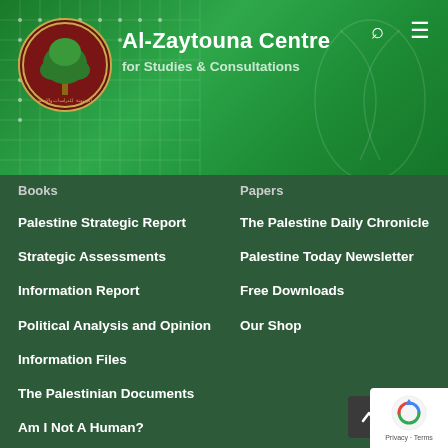[Figure (logo): Al-Zaytouna Centre for Studies and Consultations website screenshot with green header, circular logo with tree, organization name, search and menu icons]
Al-Zaytouna Centre
for Studies & Consultations
Books
Papers
Palestine Strategic Report
The Palestine Daily Chronicle
Strategic Assessments
Palestine Today Newsletter
Information Report
Free Downloads
Political Analysis and Opinion
Our Shop
Information Files
The Palestinian Documents
Am I Not A Human?